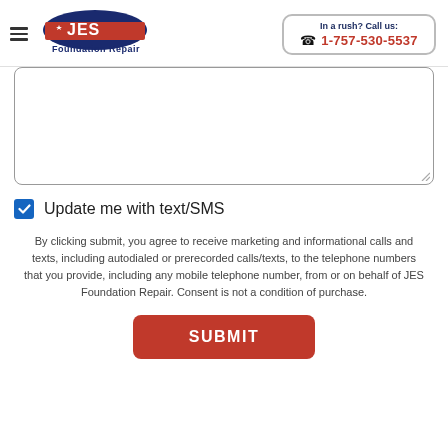JES Foundation Repair | In a rush? Call us: 1-757-530-5537
[Figure (other): Large text input textarea form field, partially visible, with rounded corners and resize handle]
Update me with text/SMS
By clicking submit, you agree to receive marketing and informational calls and texts, including autodialed or prerecorded calls/texts, to the telephone numbers that you provide, including any mobile telephone number, from or on behalf of JES Foundation Repair. Consent is not a condition of purchase.
SUBMIT